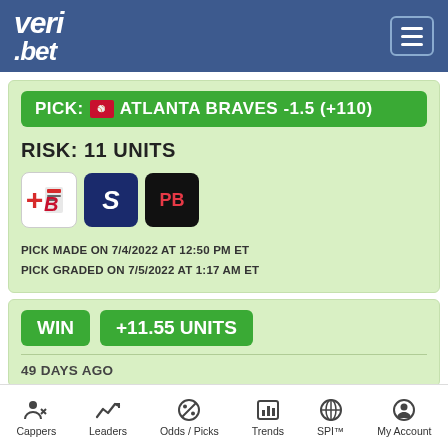veri.bet
PICK: ATLANTA BRAVES -1.5 (+110)
RISK: 11 UNITS
[Figure (logo): Betting site logos: Barstool Sportsbook (B), SuperDraft (S), PointsBet (PB)]
PICK MADE ON 7/4/2022 AT 12:50 PM ET
PICK GRADED ON 7/5/2022 AT 1:17 AM ET
WIN  +11.55 UNITS
49 DAYS AGO
Cappers  Leaders  Odds / Picks  Trends  SPI™  My Account